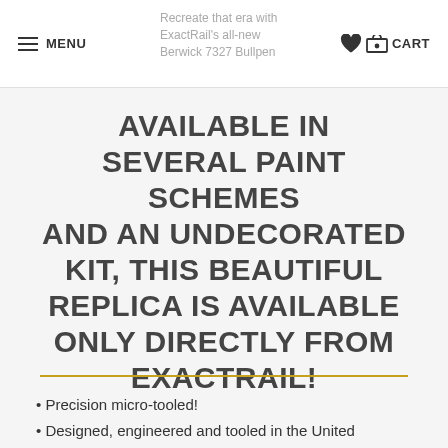MENU | Recreate that era with ExactRail's all-new Berwick 7327 Bullpen | CART
AVAILABLE IN SEVERAL PAINT SCHEMES AND AN UNDECORATED KIT, THIS BEAUTIFUL REPLICA IS AVAILABLE ONLY DIRECTLY FROM EXACTRAIL!
Precision micro-tooled!
Designed, engineered and tooled in the United